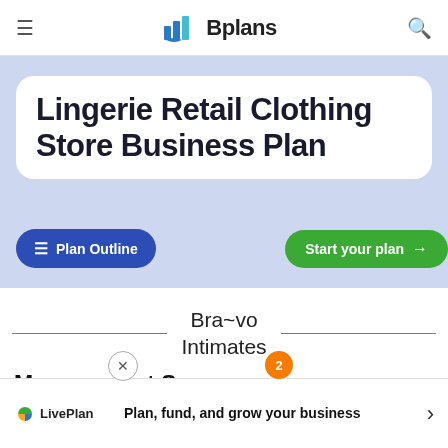Bplans
Lingerie Retail Clothing Store Business Plan
Plan Outline
Start your plan →
Bra~vo Intimates
Management Summary
Bra~vo
Plan, fund, and grow your business